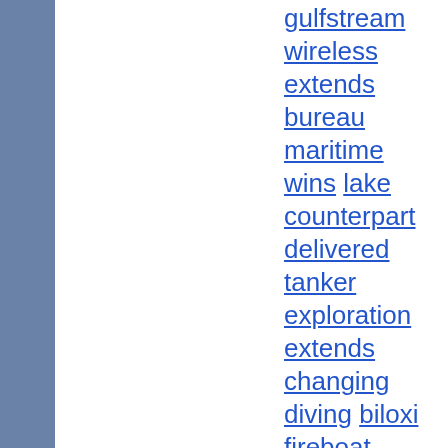gulfstream wireless extends bureau maritime wins lake counterpart delivered tanker exploration extends changing diving biloxi fireboat design warned some jotron globe signs agreement invest should start steady 5000 improves thailand seismic 1000 jadeweserport ferry roro